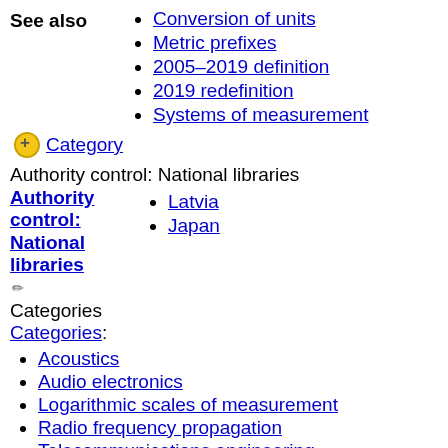See also
Conversion of units
Metric prefixes
2005–2019 definition
2019 redefinition
Systems of measurement
Category
Authority control: National libraries
Authority control: National libraries
Latvia
Japan
Categories
Categories:
Acoustics
Audio electronics
Logarithmic scales of measurement
Radio frequency propagation
Telecommunications engineering
Units of measurement